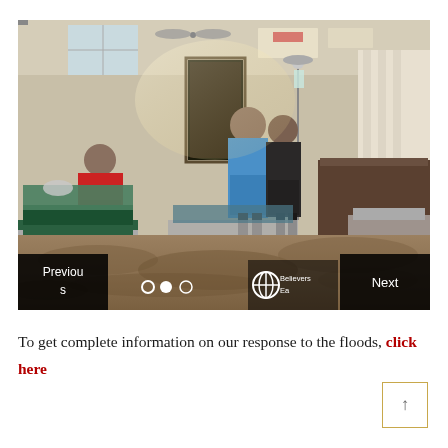[Figure (photo): Interior of a flooded hospital ward in India. Muddy brown water covers the floor. Several hospital beds are visible, a woman in a blue sari stands in the center supported by another person, a woman in red sits on the left side. Medical IV stands are visible. Navigation overlay shows Previous and Next buttons with Believers East branding.]
To get complete information on our response to the floods, click here